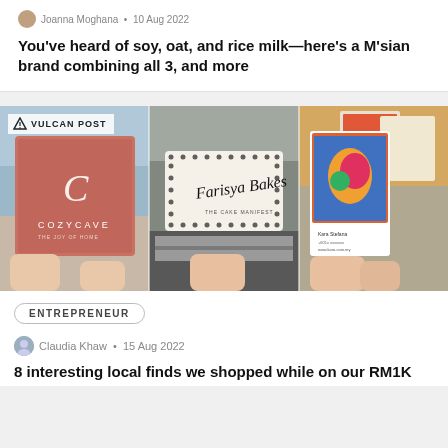Joanna Moghana • 10 Aug 2022
You've heard of soy, oat, and rice milk—here's a M'sian brand combining all 3, and more
[Figure (photo): Three people holding business cards at a market: CozyCave logo card (pink), Farisya Bakes cake business card (cream with dots), and a colorful illustrated art card. Vulcan Post watermark in top left.]
ENTREPRENEUR
Claudia Khaw • 15 Aug 2022
8 interesting local finds we shopped while on our RM1K